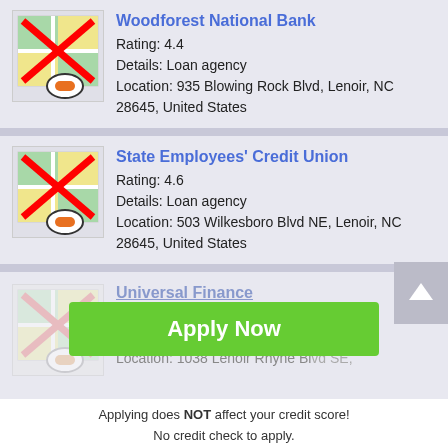[Figure (screenshot): Mobile app screenshot showing a list of loan agencies near Lenoir, NC. Three cards shown: Woodforest National Bank (rating 4.4), State Employees' Credit Union (rating 4.6), Universal Finance (rating 2.8, partially obscured by an Apply Now popup overlay).]
Woodforest National Bank
Rating: 4.4
Details: Loan agency
Location: 935 Blowing Rock Blvd, Lenoir, NC 28645, United States
State Employees' Credit Union
Rating: 4.6
Details: Loan agency
Location: 503 Wilkesboro Blvd NE, Lenoir, NC 28645, United States
Universal Finance
Rating: 2.8
Details: L...
Location: 1038 Lenoir Rhyne Blvd SE,
Applying does NOT affect your credit score!
No credit check to apply.